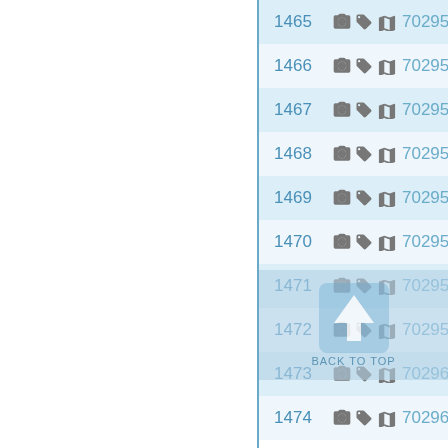| ID | Icons | Number |
| --- | --- | --- |
| 1465 | 📷 🏷 🗺 | 702952 |
| 1466 | 📷 🏷 🗺 | 702953 |
| 1467 | 📷 🏷 🗺 | 702954 |
| 1468 | 📷 🏷 🗺 | 702955 |
| 1469 | 📷 🏷 🗺 | 702956 |
| 1470 | 📷 🏷 🗺 | 702957 |
| 1471 | 📷 🏷 🗺 | 702958 |
| 1472 | 📷 🏷 🗺 | 702959 |
| 1473 | 📷 🏷 🗺 | 702960 |
| 1474 | 📷 🏷 🗺 | 702961 |